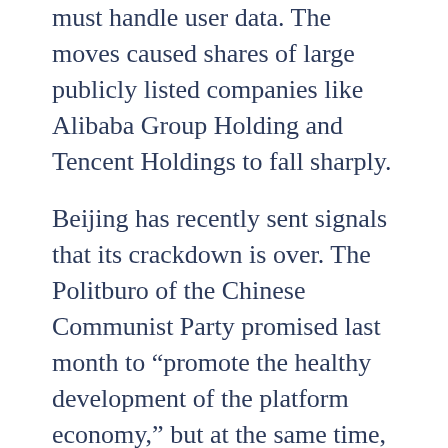must handle user data. The moves caused shares of large publicly listed companies like Alibaba Group Holding and Tencent Holdings to fall sharply.
Beijing has recently sent signals that its crackdown is over. The Politburo of the Chinese Communist Party promised last month to “promote the healthy development of the platform economy,” but at the same time, strict COVID-19 restrictions in Shanghai and Beijing have shaken the Chinese economy and further alarmed investors.
“Some investors are beginning to feel the risk to China’s start-up” side conversation